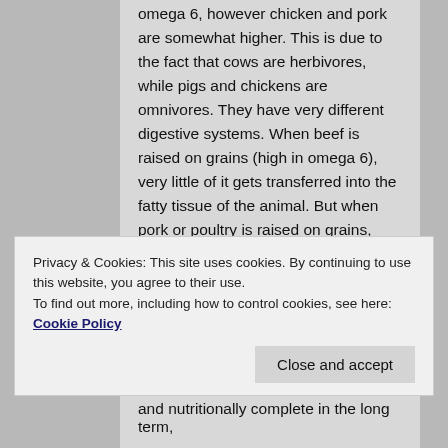omega 6, however chicken and pork are somewhat higher. This is due to the fact that cows are herbivores, while pigs and chickens are omnivores. They have very different digestive systems. When beef is raised on grains (high in omega 6), very little of it gets transferred into the fatty tissue of the animal. But when pork or poultry is raised on grains, quite a bit of the omega 6 present in the grains gets transferred into the fatty tissue of the animal. I believe this may be why many people find pork and chicken to be far more inflammatory than beef. Longer term
Privacy & Cookies: This site uses cookies. By continuing to use this website, you agree to their use.
To find out more, including how to control cookies, see here: Cookie Policy
and nutritionally complete in the long term,